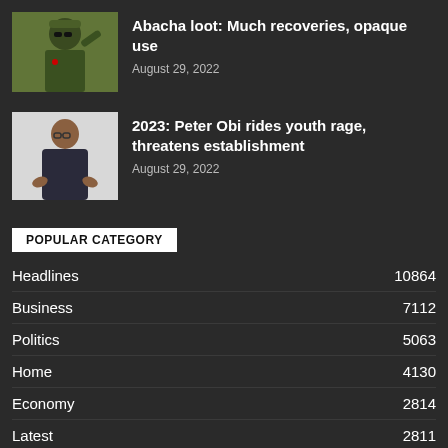[Figure (photo): Military officer in green uniform and beret, saluting]
Abacha loot: Much recoveries, opaque use
August 29, 2022
[Figure (photo): Man in dark clothing with hands gesturing, white background]
2023: Peter Obi rides youth rage, threatens establishment
August 29, 2022
POPULAR CATEGORY
| Category | Count |
| --- | --- |
| Headlines | 10864 |
| Business | 7112 |
| Politics | 5063 |
| Home | 4130 |
| Economy | 2814 |
| Latest | 2811 |